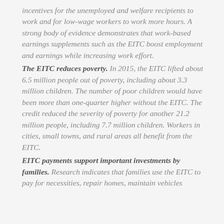incentives for the unemployed and welfare recipients to work and for low-wage workers to work more hours. A strong body of evidence demonstrates that work-based earnings supplements such as the EITC boost employment and earnings while increasing work effort.
The EITC reduces poverty. In 2015, the EITC lifted about 6.5 million people out of poverty, including about 3.3 million children. The number of poor children would have been more than one-quarter higher without the EITC. The credit reduced the severity of poverty for another 21.2 million people, including 7.7 million children. Workers in cities, small towns, and rural areas all benefit from the EITC.
EITC payments support important investments by families. Research indicates that families use the EITC to pay for necessities, repair homes, maintain vehicles